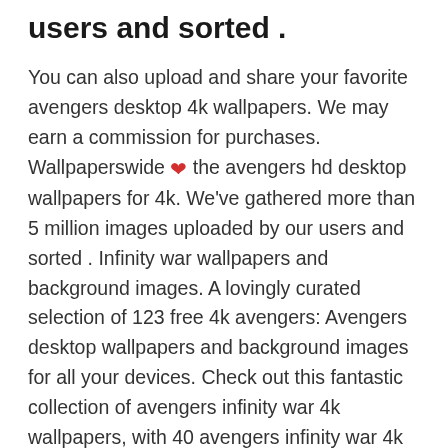users and sorted .
You can also upload and share your favorite avengers desktop 4k wallpapers. We may earn a commission for purchases. Wallpaperswide ❤ the avengers hd desktop wallpapers for 4k. We've gathered more than 5 million images uploaded by our users and sorted . Infinity war wallpapers and background images. A lovingly curated selection of 123 free 4k avengers: Avengers desktop wallpapers and background images for all your devices. Check out this fantastic collection of avengers infinity war 4k wallpapers, with 40 avengers infinity war 4k background images for your desktop, . Some had painfully low refresh rates whi. If you're one of the many who can't work at home, pc games might provide the perfect